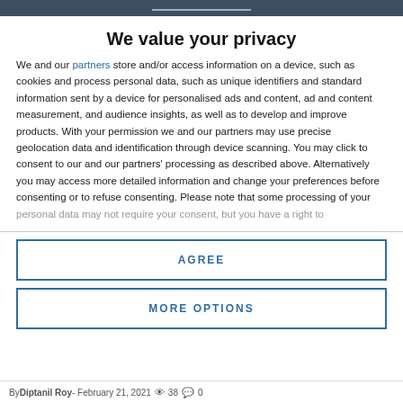We value your privacy
We and our partners store and/or access information on a device, such as cookies and process personal data, such as unique identifiers and standard information sent by a device for personalised ads and content, ad and content measurement, and audience insights, as well as to develop and improve products. With your permission we and our partners may use precise geolocation data and identification through device scanning. You may click to consent to our and our partners' processing as described above. Alternatively you may access more detailed information and change your preferences before consenting or to refuse consenting. Please note that some processing of your personal data may not require your consent, but you have a right to
AGREE
MORE OPTIONS
By Diptanil Roy - February 21, 2021   38   0